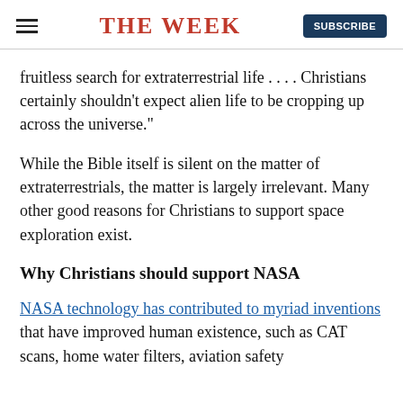THE WEEK
fruitless search for extraterrestrial life . . . . Christians certainly shouldn't expect alien life to be cropping up across the universe."
While the Bible itself is silent on the matter of extraterrestrials, the matter is largely irrelevant. Many other good reasons for Christians to support space exploration exist.
Why Christians should support NASA
NASA technology has contributed to myriad inventions that have improved human existence, such as CAT scans, home water filters, aviation safety